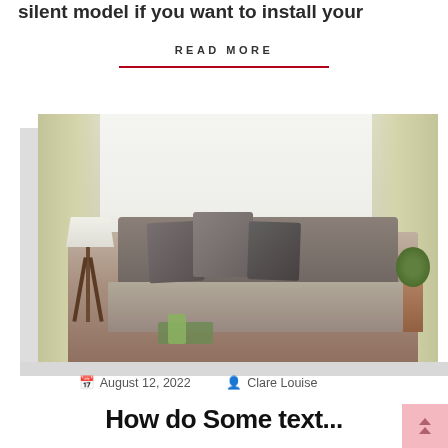silent model if you want to install your
READ MORE
[Figure (photo): Interior living room photo showing a sofa with grey pillows, cream/yellow curtains, a tripod floor lamp, and a bright window in the background]
August 12, 2022  Clare Louise
How do Some text...